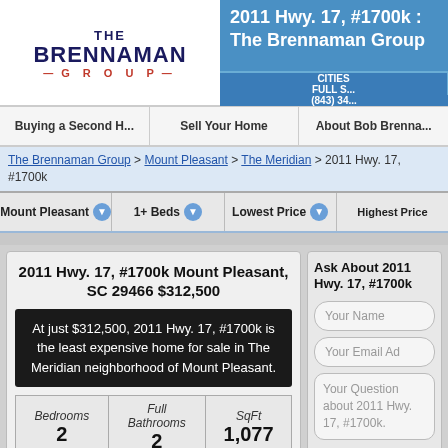[Figure (logo): The Brennaman Group logo with text]
2011 Hwy. 17, #1700k : The Brennaman Group
CITIES | FULL S... | (843) 34...
Buying a Second H... | Sell Your Home | About Bob Brenna...
The Brennaman Group > Mount Pleasant > The Meridian > 2011 Hwy. 17, #1700k
Mount Pleasant | 1+ Beds | Lowest Price | Highest Price
2011 Hwy. 17, #1700k Mount Pleasant, SC 29466 $312,500
At just $312,500, 2011 Hwy. 17, #1700k is the least expensive home for sale in The Meridian neighborhood of Mount Pleasant.
| Bedrooms | Full Bathrooms | SqFt |
| --- | --- | --- |
| 2 | 2 | 1,077 |
Ask About 2011 Hwy. 17, #1700k
Your Name
Your Email Ad
Your Question about 2011 Hwy. 17, #1700k.